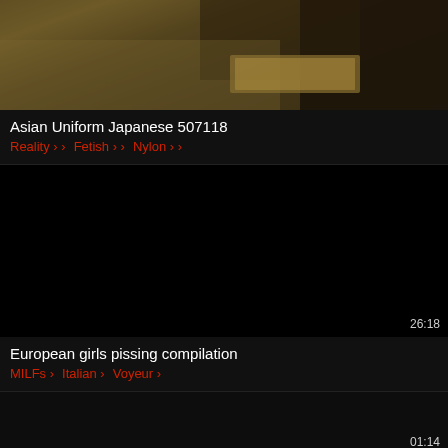[Figure (screenshot): Video thumbnail showing a partial view with tatami mat and hands, dark tones]
Asian Uniform Japanese 507118
Reality › Fetish › Nylon ›
[Figure (screenshot): Dark/black video thumbnail with duration 26:18 shown in top-right corner]
European girls pissing compilation
MILFs › Italian › Voyeur ›
[Figure (screenshot): Dark video thumbnail with duration 01:14 shown in top-right corner]